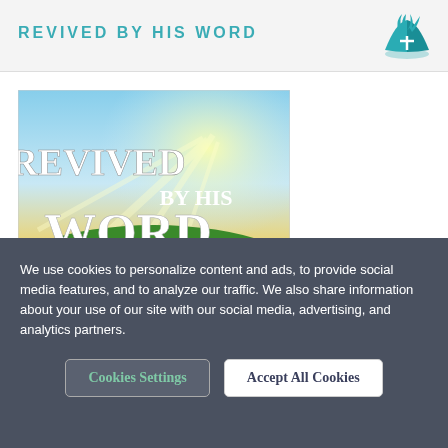REVIVED BY HIS WORD
[Figure (illustration): Book cover image for 'Revived By His Word' showing landscape with sun rays, text reading 'Revived By His Word' and subtitle 'Reading Through The Bible Together']
We use cookies to personalize content and ads, to provide social media features, and to analyze our traffic. We also share information about your use of our site with our social media, advertising, and analytics partners.
Cookies Settings
Accept All Cookies